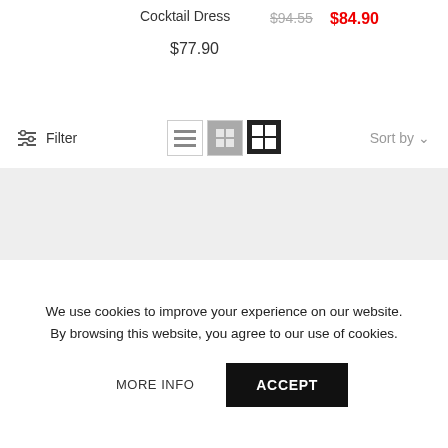Cocktail Dress
$77.90
$94.55 $84.90
Filter
Sort by
[Figure (logo): BB brand logo in grey, two mirrored B letters stylized]
We use cookies to improve your experience on our website.
By browsing this website, you agree to our use of cookies.
MORE INFO
ACCEPT